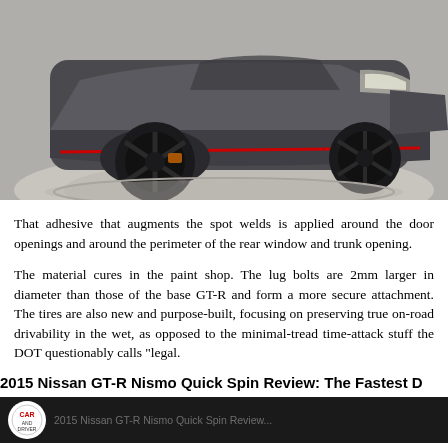[Figure (photo): Nissan GT-R Nismo sports car in dark grey/gunmetal with black wheels and red accents, photographed from front-right angle on a showroom turntable floor]
That adhesive that augments the spot welds is applied around the door openings and around the perimeter of the rear window and trunk opening.
The material cures in the paint shop. The lug bolts are 2mm larger in diameter than those of the base GT-R and form a more secure attachment. The tires are also new and purpose-built, focusing on preserving true on-road drivability in the wet, as opposed to the minimal-tread time-attack stuff the DOT questionably calls "legal.
2015 Nissan GT-R Nismo Quick Spin Review: The Fastest D
[Figure (screenshot): Bottom bar with Car and Driver logo circle and article title text on dark background]